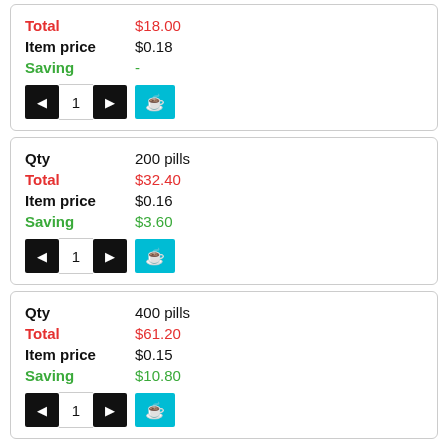| Field | Value |
| --- | --- |
| Total | $18.00 |
| Item price | $0.18 |
| Saving | - |
| Field | Value |
| --- | --- |
| Qty | 200 pills |
| Total | $32.40 |
| Item price | $0.16 |
| Saving | $3.60 |
| Field | Value |
| --- | --- |
| Qty | 400 pills |
| Total | $61.20 |
| Item price | $0.15 |
| Saving | $10.80 |